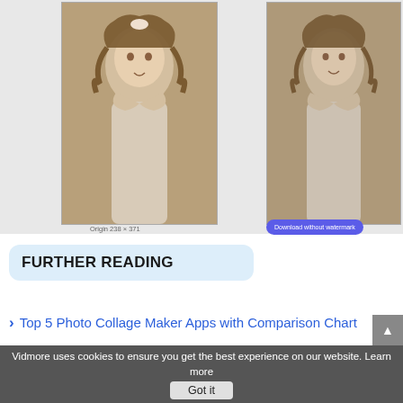[Figure (screenshot): Screenshot of an image editing web interface showing two side-by-side sepia-toned vintage photos of a young girl with curly hair. Left photo labeled 'Origin 238 × 371'. Right photo has a blue 'Download without watermark' button below it.]
FURTHER READING
Top 5 Photo Collage Maker Apps with Comparison Chart
How to Edit the Background of a Picture Using Online Tools
Vidmore uses cookies to ensure you get the best experience on our website. Learn more  Got it